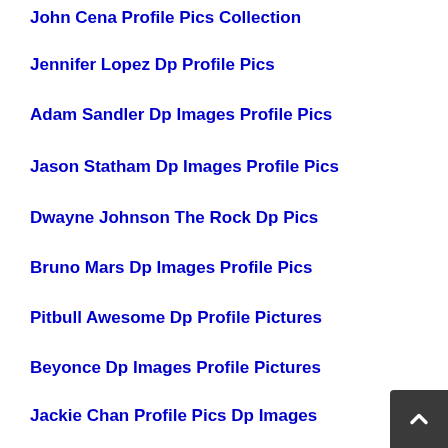John Cena Profile Pics Collection
Jennifer Lopez Dp Profile Pics
Adam Sandler Dp Images Profile Pics
Jason Statham Dp Images Profile Pics
Dwayne Johnson The Rock Dp Pics
Bruno Mars Dp Images Profile Pics
Pitbull Awesome Dp Profile Pictures
Beyonce Dp Images Profile Pictures
Jackie Chan Profile Pics Dp Images